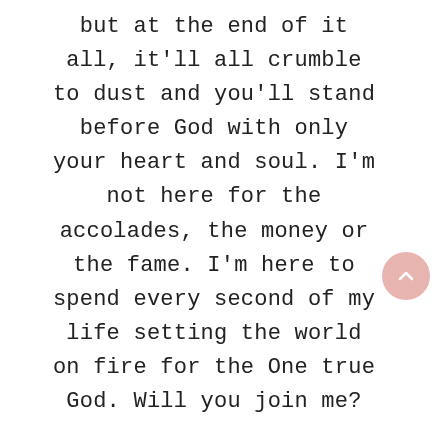but at the end of it all, it'll all crumble to dust and you'll stand before God with only your heart and soul. I'm not here for the accolades, the money or the fame. I'm here to spend every second of my life setting the world on fire for the One true God. Will you join me?